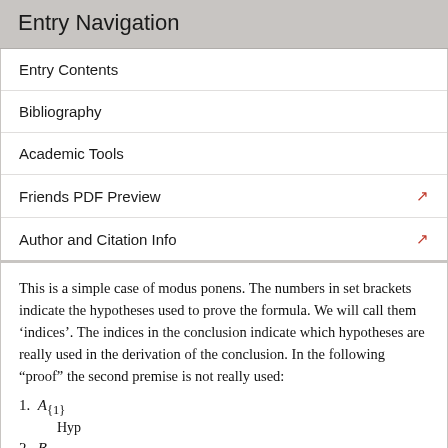Entry Navigation
Entry Contents
Bibliography
Academic Tools
Friends PDF Preview
Author and Citation Info
This is a simple case of modus ponens. The numbers in set brackets indicate the hypotheses used to prove the formula. We will call them ‘indices’. The indices in the conclusion indicate which hypotheses are really used in the derivation of the conclusion. In the following “proof” the second premise is not really used:
1. A_{1}
Hyp
2. B_{2}